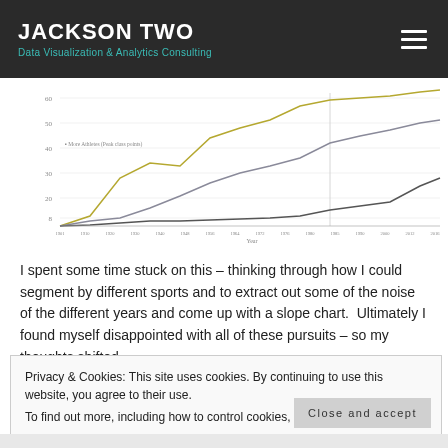JACKSON TWO
Data Visualization & Analytics Consulting
[Figure (line-chart): Multi-line chart showing trends over years (approx 1900–2016). Three lines visible: one olive/yellow-green line at top reaching ~60, one grey-purple line in middle reaching ~50, one dark grey line at bottom near 0–10. X-axis labeled 'Year', Y-axis with numeric scale.]
I spent some time stuck on this – thinking through how I could segment by different sports and to extract out some of the noise of the different years and come up with a slope chart.  Ultimately I found myself disappointed with all of these pursuits – so my thoughts shifted.
Privacy & Cookies: This site uses cookies. By continuing to use this website, you agree to their use.
To find out more, including how to control cookies, see here: Cookie Policy
Close and accept